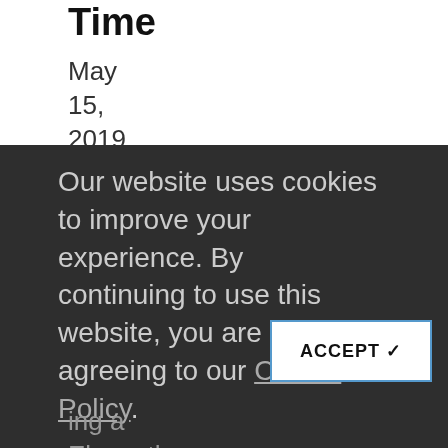Time
May 15, 2019
Our website uses cookies to improve your experience. By continuing to use this website, you are agreeing to our Cookie Policy.
ACCEPT ✔
ing a Eleventh